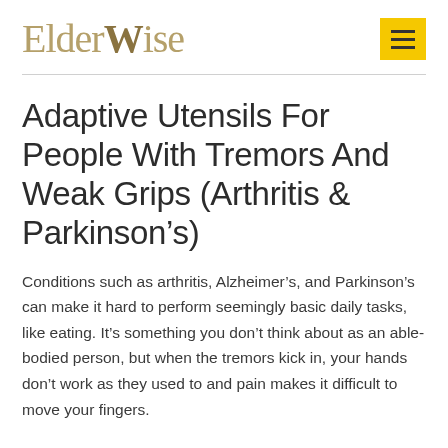ElderWise
Adaptive Utensils For People With Tremors And Weak Grips (Arthritis & Parkinson’s)
Conditions such as arthritis, Alzheimer’s, and Parkinson’s can make it hard to perform seemingly basic daily tasks, like eating. It’s something you don’t think about as an able-bodied person, but when the tremors kick in, your hands don’t work as they used to and pain makes it difficult to move your fingers.